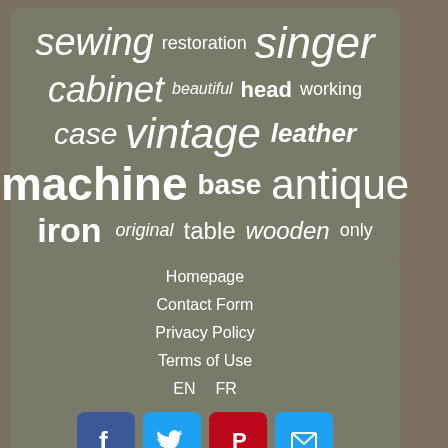[Figure (infographic): Tag cloud on grey rounded rectangle background with words: sewing, restoration, singer, cabinet, beautiful, head, working, case, vintage, leather, machine, base, antique, iron, original, table, wooden, only — all in white, varying sizes and styles]
Homepage
Contact Form
Privacy Policy
Terms of Use
EN  FR
[Figure (infographic): Social media icons: Facebook (blue), Twitter (blue), Pinterest (red), Email (blue)]